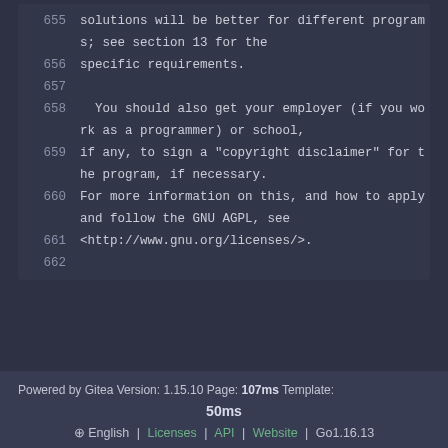655   solutions will be better for different programs; see section 13 for the
656   specific requirements.
657
658     You should also get your employer (if you work as a programmer) or school,
659   if any, to sign a "copyright disclaimer" for the program, if necessary.
660   For more information on this, and how to apply and follow the GNU AGPL, see
661   <http://www.gnu.org/licenses/>.
662
Powered by Gitea Version: 1.15.10 Page: 107ms Template: 50ms | English | Licenses | API | Website | Go1.16.13